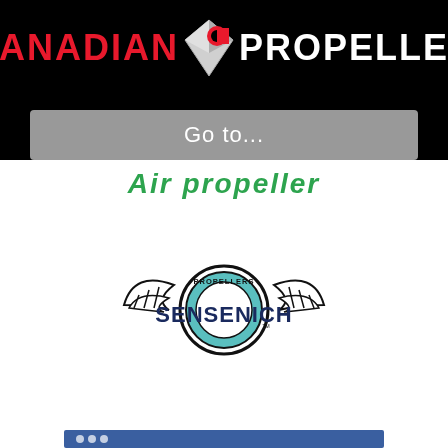[Figure (logo): Canadian Propeller logo on black background with diamond/propeller icon between 'CANADIAN' in red and 'PROPELLER' in white]
[Figure (screenshot): Gray navigation bar with 'Go to...' text]
Air propeller
[Figure (logo): Sensenich Propellers logo with wings and circular emblem]
[Figure (screenshot): Partial bottom navigation bar element]